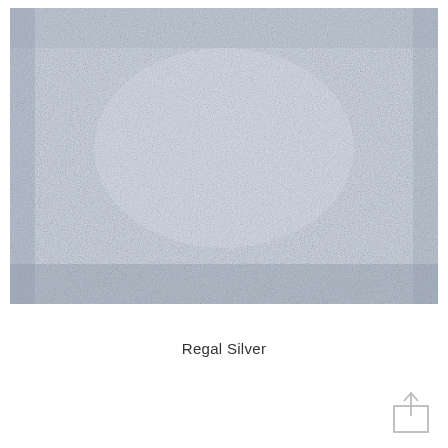[Figure (photo): Close-up photograph of a silver/light blue carpet or fabric texture with a soft, plush, looped pile surface. The material appears to be a light silvery-blue color with a uniform textured pattern throughout.]
Regal Silver